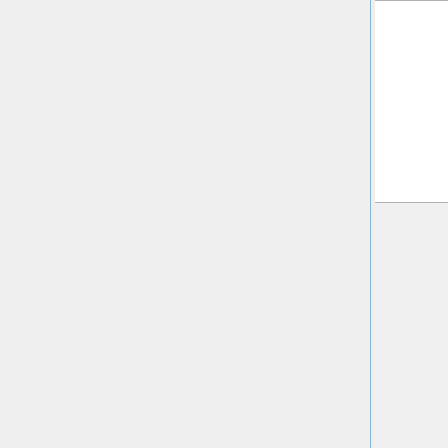| Description | Category | Type |
| --- | --- | --- |
| Update from HEMCO 2.1.010 to HEMCO 2.1.011:
• Now wrap the remaining HEMCO extensions in instances (to facilitate running in HPC environments)
• Update HEMCO standalone for compatibility with FlexGrid met field | GCST | Structu... |